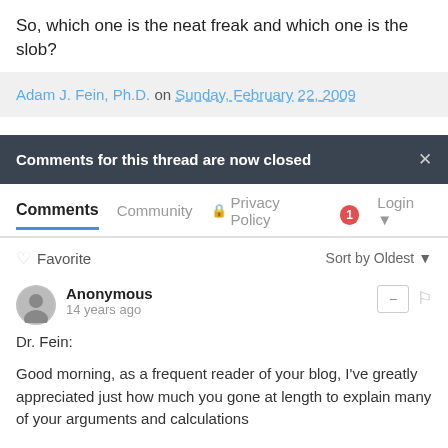So, which one is the neat freak and which one is the slob?
Adam J. Fein, Ph.D. on Sunday, February 22, 2009
Comments for this thread are now closed
Comments  Community  Privacy Policy  1  Login
Favorite  Sort by Oldest
Anonymous
14 years ago
Dr. Fein:

Good morning, as a frequent reader of your blog, I've greatly appreciated just how much you gone at length to explain many of your arguments and calculations